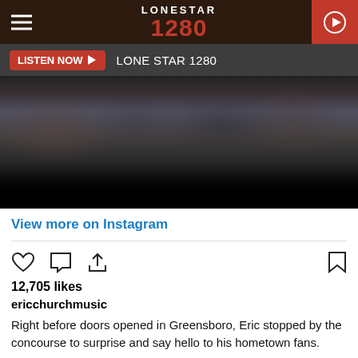[Figure (screenshot): Lone Star 1280 radio station website header with logo and hamburger menu]
LISTEN NOW ▶  LONE STAR 1280
[Figure (photo): Dark photo of a crowd of people in a concourse]
View more on Instagram
12,705 likes
ericchurchmusic
Right before doors opened in Greensboro, Eric stopped by the concourse to surprise and say hello to his hometown fans.
view all 386 comments